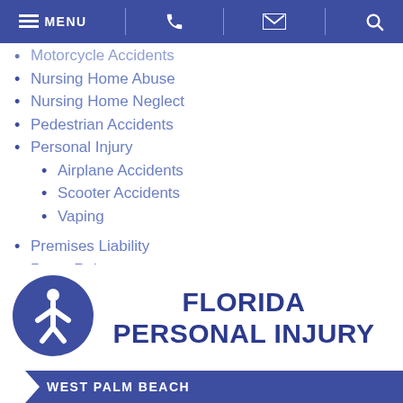MENU [phone] [email] [search]
Motorcycle Accidents (partial, cut off)
Nursing Home Abuse
Nursing Home Neglect
Pedestrian Accidents
Personal Injury
Airplane Accidents (sub-item)
Scooter Accidents (sub-item)
Vaping (sub-item)
Premises Liability
Press Releases
Product Liability
Slip And Fall
Truck Accidents
Wrongful Death
FLORIDA PERSONAL INJURY
WEST PALM BEACH